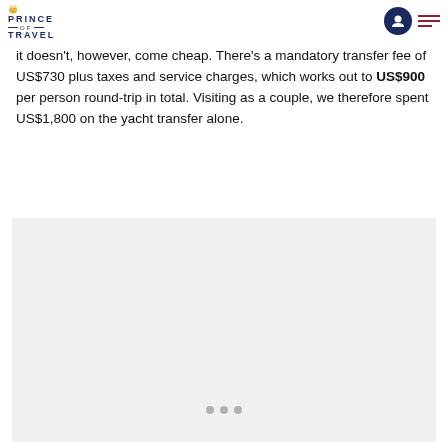Prince of Travel
it doesn't, however, come cheap. There's a mandatory transfer fee of US$730 plus taxes and service charges, which works out to US$900 per person round-trip in total. Visiting as a couple, we therefore spent US$1,800 on the yacht transfer alone.
[Figure (photo): A photo placeholder with navigation dots at the bottom center, displayed on a light grey background.]